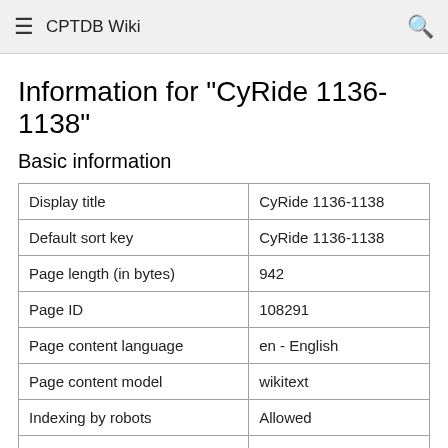CPTDB Wiki
Information for "CyRide 1136-1138"
Basic information
| Display title | CyRide 1136-1138 |
| Default sort key | CyRide 1136-1138 |
| Page length (in bytes) | 942 |
| Page ID | 108291 |
| Page content language | en - English |
| Page content model | wikitext |
| Indexing by robots | Allowed |
| Number of redirects to this page | 0 |